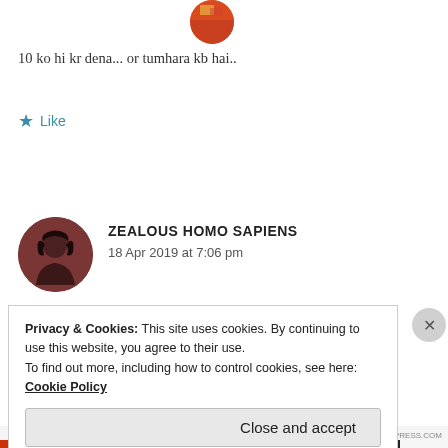[Figure (photo): Circular avatar image of a person, partially visible at top, colorful]
10 ko hi kr dena... or tumhara kb hai..
★ Like
[Figure (photo): Circular avatar photo of a person with dark hair wearing dark clothing, brownish-red background]
ZEALOUS HOMO SAPIENS
18 Apr 2019 at 7:06 pm
29 may
Privacy & Cookies: This site uses cookies. By continuing to use this website, you agree to their use.
To find out more, including how to control cookies, see here: Cookie Policy
Close and accept